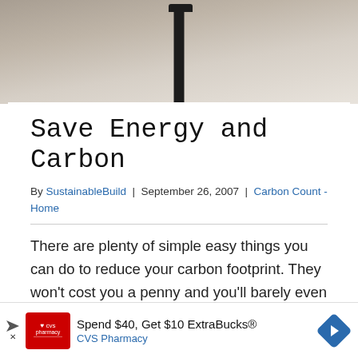[Figure (photo): Top portion of a photo showing a lamp post against a light beige/cream background]
Save Energy and Carbon
By SustainableBuild | September 26, 2007 | Carbon Count - Home
There are plenty of simple easy things you can do to reduce your carbon footprint. They won't cost you a penny and you'll barely even notice the difference in your life. That's not to say every change is this easy. But if you look at the range of factors involved...
[Figure (infographic): CVS Pharmacy advertisement banner: Spend $40, Get $10 ExtraBucks®]